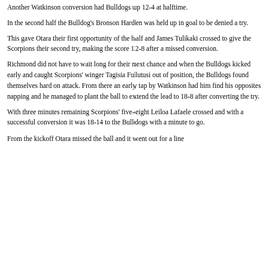Another Watkinson conversion had Bulldogs up 12-4 at halftime.
In the second half the Bulldog's Bronson Harden was held up in goal to be denied a try.
This gave Otara their first opportunity of the half and James Tulikaki crossed to give the Scorpions their second try, making the score 12-8 after a missed conversion.
Richmond did not have to wait long for their next chance and when the Bulldogs kicked early and caught Scorpions' winger Tagisia Fulutusi out of position, the Bulldogs found themselves hard on attack. From there an early tap by Watkinson had him find his opposites napping and he managed to plant the ball to extend the lead to 18-8 after converting the try.
With three minutes remaining Scorpions' five-eight Leiloa Lafaele crossed and with a successful conversion it was 18-14 to the Bulldogs with a minute to go.
From the kickoff Otara missed the ball and it went out for a line